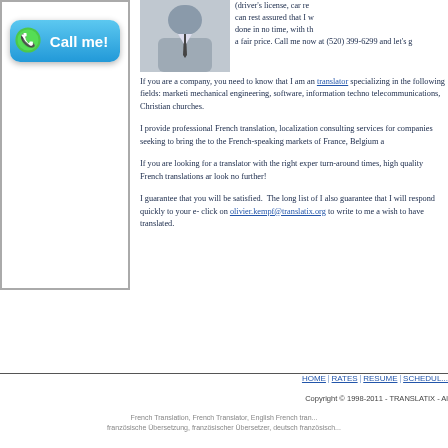[Figure (other): Green phone icon Call me! button with blue gradient background]
[Figure (photo): Photo of a man in a suit and tie]
(driver's license, car re can rest assured that I w done in no time, with th a fair price. Call me now at (520) 399-6299 and let's g
If you are a company, you need to know that I am an translator specializing in the following fields: marketi mechanical engineering, software, information techno telecommunications, Christian churches.
I provide professional French translation, localization consulting services for companies seeking to bring the to the French-speaking markets of France, Belgium a
If you are looking for a translator with the right exper turn-around times, high quality French translations ar look no further!
I guarantee that you will be satisfied. The long list of I also guarantee that I will respond quickly to your e- click on olivier.kempf@translatix.org to write to me a wish to have translated.
HOME | RATES | RESUME | SCHEDUL...
Copyright © 1998-2011 - TRANSLATIX - Al
French Translation, French Translator, English French tran... französische Übersetzung, französischer Übersetzer, deutsch französisch...